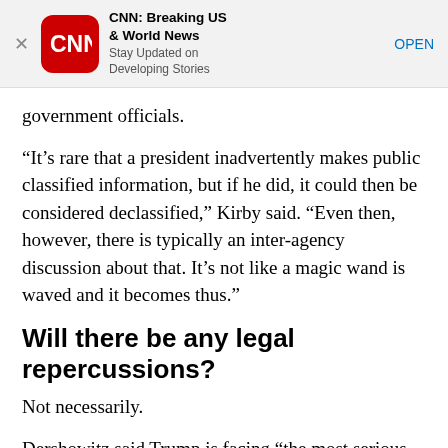[Figure (screenshot): CNN app advertisement banner with CNN logo, title 'CNN: Breaking US & World News', subtitle 'Stay Updated on Developing Stories', and OPEN button]
government officials.
“It’s rare that a president inadvertently makes public classified information, but if he did, it could then be considered declassified,” Kirby said. “Even then, however, there is typically an inter-agency discussion about that. It’s not like a magic wand is waved and it becomes thus.”
Will there be any legal repercussions?
Not necessarily.
Dershowitz said Trump is facing “the most serious charge ever made against a sitting president.”